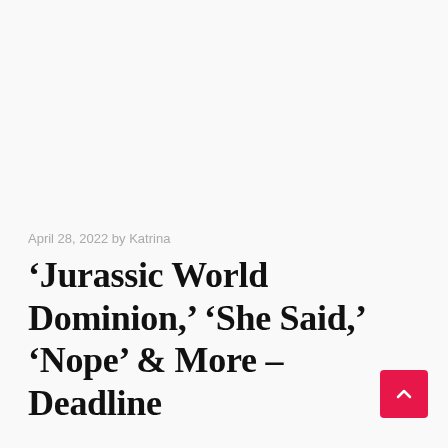April 28, 2022 by Katrina
'Jurassic World Dominion,' 'She Said,' 'Nope' & More – Deadline